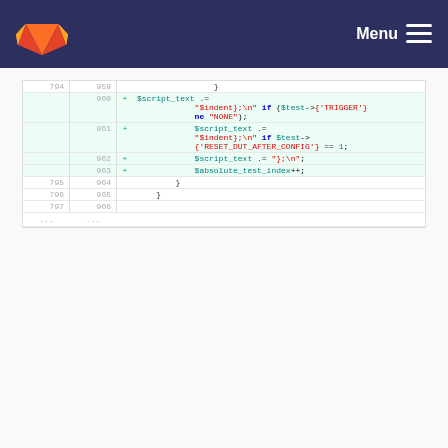GitLab Menu
[Figure (screenshot): Code diff view showing lines 794-797 (old) and 959-966 (new) with added lines 960-963 highlighted in green, showing PHP code with $script_text, $indent, $test->{'TRIGGER'}, ne 'NONE', $test->{'RESET_DUT_AFTER_CONFIG'} == 1, and $absolute_test_index++]
Please register or sign in to comment